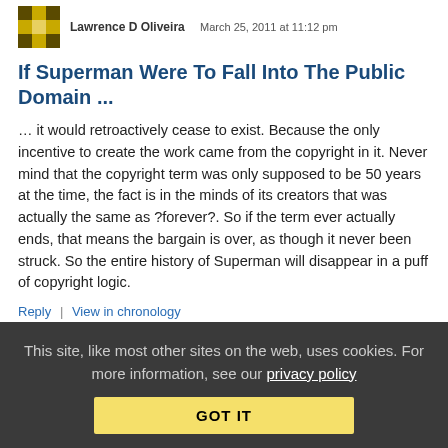Lawrence D Oliveira · March 25, 2011 at 11:12 pm
If Superman Were To Fall Into The Public Domain ...
… it would retroactively cease to exist. Because the only incentive to create the work came from the copyright in it. Never mind that the copyright term was only supposed to be 50 years at the time, the fact is in the minds of its creators that was actually the same as ?forever?. So if the term ever actually ends, that means the bargain is over, as though it never been struck. So the entire history of Superman will disappear in a puff of copyright logic.
Reply | View in chronology
This site, like most other sites on the web, uses cookies. For more information, see our privacy policy
GOT IT